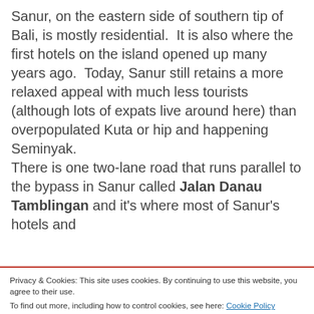Sanur, on the eastern side of southern tip of Bali, is mostly residential.  It is also where the first hotels on the island opened up many years ago.  Today, Sanur still retains a more relaxed appeal with much less tourists (although lots of expats live around here) than overpopulated Kuta or hip and happening Seminyak.
There is one two-lane road that runs parallel to the bypass in Sanur called Jalan Danau Tamblingan and it's where most of Sanur's hotels and
Privacy & Cookies: This site uses cookies. By continuing to use this website, you agree to their use.
To find out more, including how to control cookies, see here: Cookie Policy
Close and accept